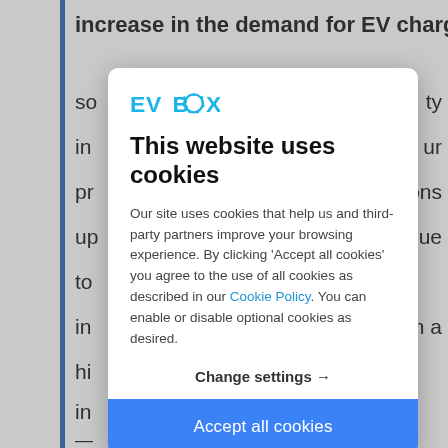increase in the demand for EV charging
so  ty
in  ur
pr  ons
up  ue
to
in  in a
hi
in
[Figure (logo): EVBox logo in blue text with a circular dot replacing the 'O']
This website uses cookies
Our site uses cookies that help us and third-party partners improve your browsing experience. By clicking 'Accept all cookies' you agree to the use of all cookies as described in our Cookie Policy. You can enable or disable optional cookies as desired.
Change settings →
Accept all cookies